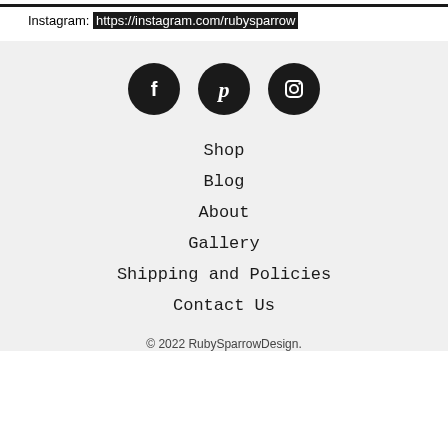Instagram: https://instagram.com/rubysparrow
[Figure (other): Social media icons: Facebook, Pinterest, Instagram (white icons on black circles)]
Shop
Blog
About
Gallery
Shipping and Policies
Contact Us
© 2022 RubySparrowDesign.